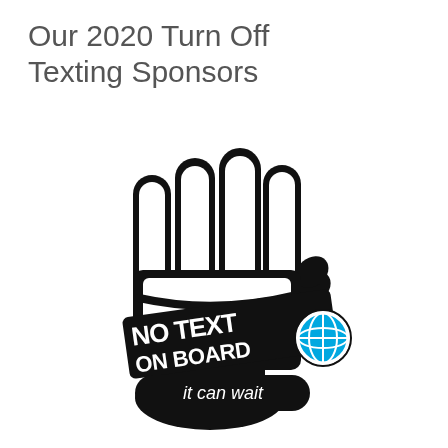Our 2020 Turn Off Texting Sponsors
[Figure (logo): AT&T 'No Text On Board – it can wait' campaign logo featuring a black cartoon hand/glove with fingers raised, a diagonal banner reading 'NO TEXT ON BOARD' in white bold text, a rounded rectangle at the bottom reading 'it can wait' in white text on black, and the AT&T globe logo in blue on the right side.]